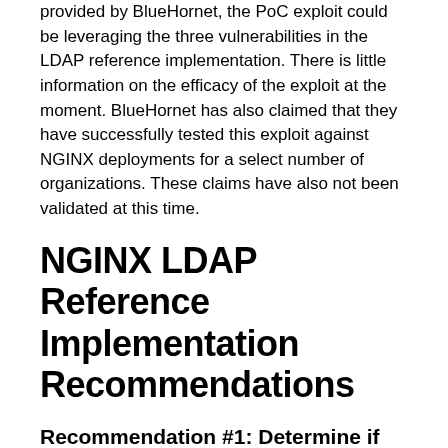provided by BlueHornet, the PoC exploit could be leveraging the three vulnerabilities in the LDAP reference implementation. There is little information on the efficacy of the exploit at the moment. BlueHornet has also claimed that they have successfully tested this exploit against NGINX deployments for a select number of organizations. These claims have also not been validated at this time.
NGINX LDAP Reference Implementation Recommendations
Recommendation #1: Determine if you have a Vulnerable NGINX Deployment
NGINX Open Source and NGINX Plus are not inherently